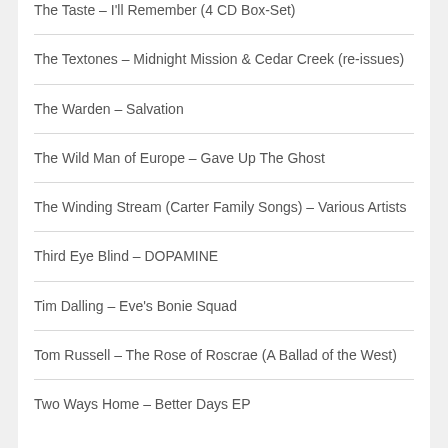The Taste – I'll Remember (4 CD Box-Set)
The Textones – Midnight Mission & Cedar Creek (re-issues)
The Warden – Salvation
The Wild Man of Europe – Gave Up The Ghost
The Winding Stream (Carter Family Songs) – Various Artists
Third Eye Blind – DOPAMINE
Tim Dalling – Eve's Bonie Squad
Tom Russell – The Rose of Roscrae (A Ballad of the West)
Two Ways Home – Better Days EP